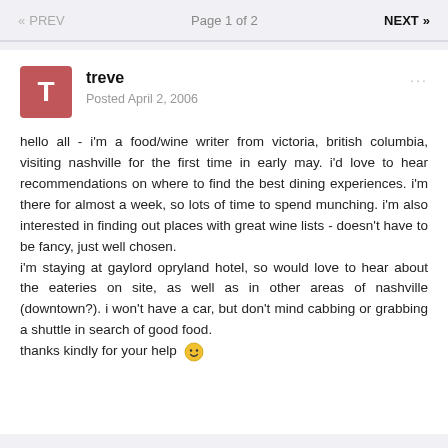« PREV   Page 1 of 2   NEXT »
treve
Posted April 2, 2006
hello all - i'm a food/wine writer from victoria, british columbia, visiting nashville for the first time in early may. i'd love to hear recommendations on where to find the best dining experiences. i'm there for almost a week, so lots of time to spend munching. i'm also interested in finding out places with great wine lists - doesn't have to be fancy, just well chosen.
i'm staying at gaylord opryland hotel, so would love to hear about the eateries on site, as well as in other areas of nashville (downtown?). i won't have a car, but don't mind cabbing or grabbing a shuttle in search of good food.
thanks kindly for your help 🙂